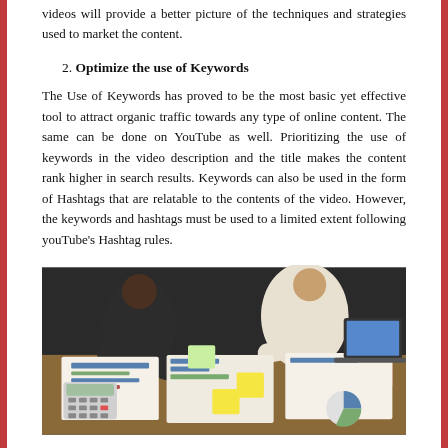videos will provide a better picture of the techniques and strategies used to market the content.
2. Optimize the use of Keywords
The Use of Keywords has proved to be the most basic yet effective tool to attract organic traffic towards any type of online content. The same can be done on YouTube as well. Prioritizing the use of keywords in the video description and the title makes the content rank higher in search results. Keywords can also be used in the form of Hashtags that are relatable to the contents of the video. However, the keywords and hashtags must be used to a limited extent following youTube's Hashtag rules.
[Figure (photo): Two people leaning over a table covered with documents, charts, sticky notes, and a calculator, collaborating on work, with a laptop visible in the background.]